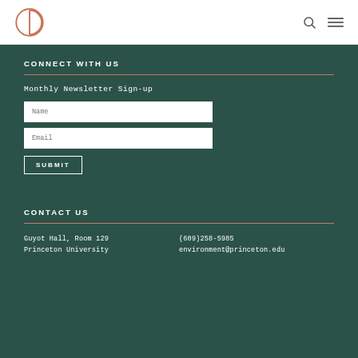[Figure (logo): Princeton Environmental Institute circular logo in orange/copper color]
CONNECT WITH US
Monthly Newsletter Sign-up
Name (input field)
Email (input field)
SUBMIT
CONTACT US
Guyot Hall, Room 129
Princeton University
(609)258-5985
environment@princeton.edu